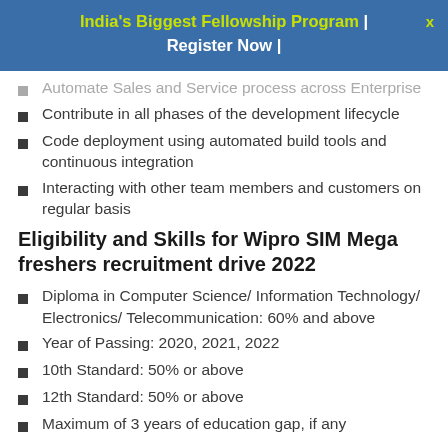India's Biggest Fellowship Program | Register Now |
Automate Sales and Service process across Enterprise
Contribute in all phases of the development lifecycle
Code deployment using automated build tools and continuous integration
Interacting with other team members and customers on regular basis
Eligibility and Skills for Wipro SIM Mega freshers recruitment drive 2022
Diploma in Computer Science/ Information Technology/ Electronics/ Telecommunication: 60% and above
Year of Passing: 2020, 2021, 2022
10th Standard: 50% or above
12th Standard: 50% or above
Maximum of 3 years of education gap, if any